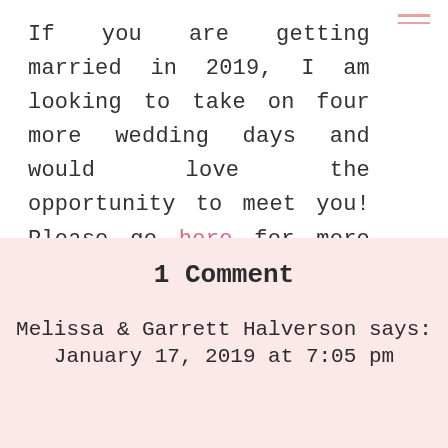If you are getting married in 2019, I am looking to take on four more wedding days and would love the opportunity to meet you! Please go here for more information about the JBP Breezy Bride Experience!
1 Comment
Melissa & Garrett Halverson says:
January 17, 2019 at 7:05 pm